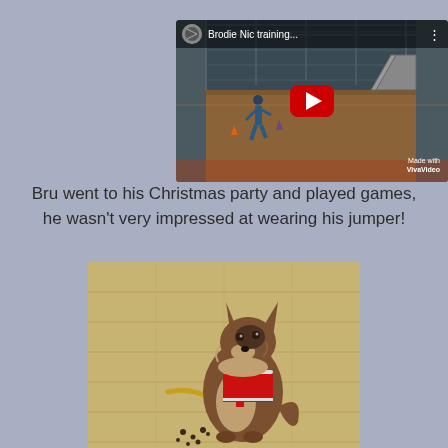[Figure (screenshot): YouTube video thumbnail showing a dog agility training arena with a person running, titled 'Brodie Nic training...' with a red YouTube play button in the center and 'Made with VivaVideo' watermark in the bottom right corner.]
Bru went to his Christmas party and played games, he wasn't very impressed at wearing his jumper!
[Figure (photo): Photo of a Shetland Sheepdog (Sheltie) wearing a red Christmas outfit, sitting on a wooden floor with a yellow rope/leash on the floor and small dots/treats nearby.]